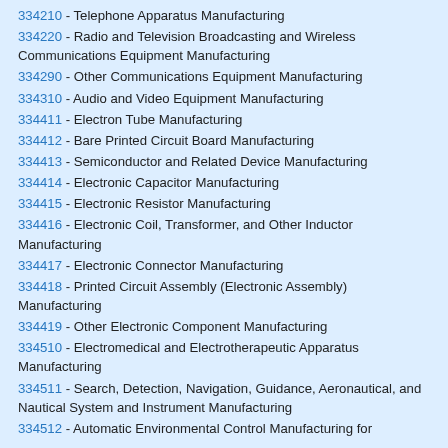334210 - Telephone Apparatus Manufacturing
334220 - Radio and Television Broadcasting and Wireless Communications Equipment Manufacturing
334290 - Other Communications Equipment Manufacturing
334310 - Audio and Video Equipment Manufacturing
334411 - Electron Tube Manufacturing
334412 - Bare Printed Circuit Board Manufacturing
334413 - Semiconductor and Related Device Manufacturing
334414 - Electronic Capacitor Manufacturing
334415 - Electronic Resistor Manufacturing
334416 - Electronic Coil, Transformer, and Other Inductor Manufacturing
334417 - Electronic Connector Manufacturing
334418 - Printed Circuit Assembly (Electronic Assembly) Manufacturing
334419 - Other Electronic Component Manufacturing
334510 - Electromedical and Electrotherapeutic Apparatus Manufacturing
334511 - Search, Detection, Navigation, Guidance, Aeronautical, and Nautical System and Instrument Manufacturing
334512 - Automatic Environmental Control Manufacturing for